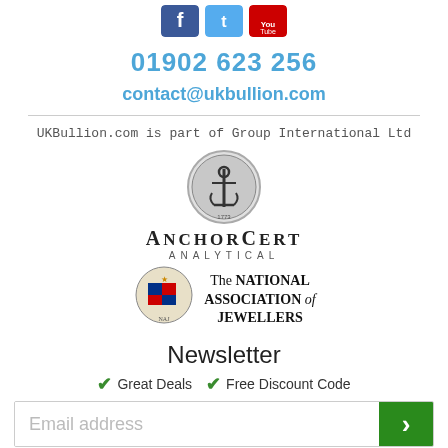[Figure (logo): Three social media icons: Facebook (blue), Twitter (light blue), YouTube (red)]
01902 623 256
contact@ukbullion.com
UKBullion.com is part of Group International Ltd
[Figure (logo): AnchorCert Analytical logo with anchor inside a circle and text ANCHORCERT ANALYTICAL]
[Figure (logo): The National Association of Jewellers logo with coat of arms]
Newsletter
✓ Great Deals  ✓ Free Discount Code
Email address
© UKBullion All Rights Reserved